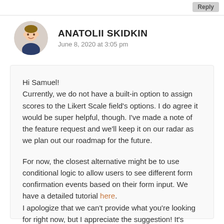Reply
ANATOLII SKIDKIN
June 8, 2020 at 3:05 pm
Hi Samuel!
Currently, we do not have a built-in option to assign scores to the Likert Scale field's options. I do agree it would be super helpful, though. I've made a note of the feature request and we'll keep it on our radar as we plan out our roadmap for the future.

For now, the closest alternative might be to use conditional logic to allow users to see different form confirmation events based on their form input. We have a detailed tutorial here.
I apologize that we can't provide what you're looking for right now, but I appreciate the suggestion! It's always helpful to get insights from our users.